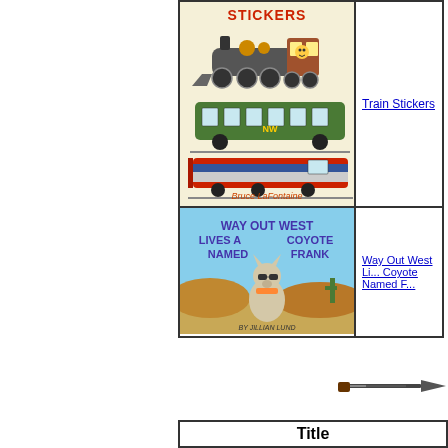[Figure (illustration): Book cover: Train Stickers by Bruce LaFontaine, showing a steam locomotive, passenger car labeled NW, and a modern red locomotive on a cream background]
Train Stickers
[Figure (illustration): Book cover: Way Out West Lives a Coyote Named Frank by Jillian Lund, showing a cartoon coyote wearing sunglasses in a desert landscape with purple title text]
Way Out West Lives a Coyote Named Frank
[Figure (illustration): Small decorative image of what appears to be a weapon or tool, partially cut off at right edge]
Title